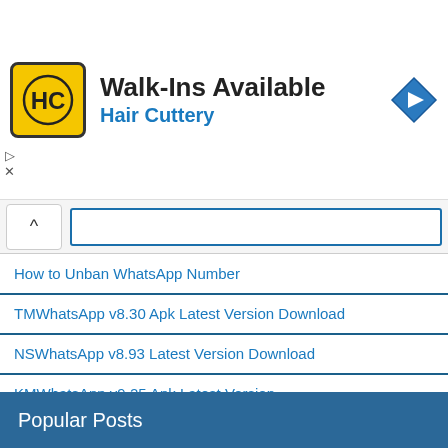[Figure (advertisement): Hair Cuttery advertisement banner with HC logo, Walk-Ins Available text, and navigation arrow icon]
How to Unban WhatsApp Number
TMWhatsApp v8.30 Apk Latest Version Download
NSWhatsApp v8.93 Latest Version Download
KMWhatsApp v9.25 Apk Latest Version
WhatsApp MJW v9.30 Latest Version Download
AERO WhatsApp V9.35 Apk Download
DELTA ULTRA V4.1.0F Apk Download
Popular Posts